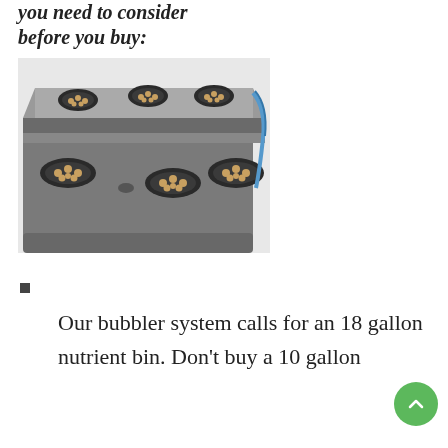you need to consider before you buy:
[Figure (photo): A grey plastic storage bin/tote with a lid modified for hydroponics, showing six round net pot holes cut into the lid, filled with clay pebbles, and a blue tube/hose attached to the side.]
Our bubbler system calls for an 18 gallon nutrient bin. Don't buy a 10 gallon